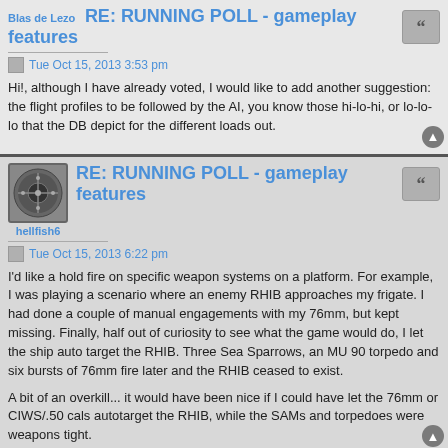Blas de Lezo RE: RUNNING POLL - gameplay features
Tue Oct 15, 2013 3:53 pm
Hi!, although I have already voted, I would like to add another suggestion: the flight profiles to be followed by the AI, you know those hi-lo-hi, or lo-lo-lo that the DB depict for the different loads out.
RE: RUNNING POLL - gameplay features
hellfish6
Tue Oct 15, 2013 6:22 pm
I'd like a hold fire on specific weapon systems on a platform. For example, I was playing a scenario where an enemy RHIB approaches my frigate. I had done a couple of manual engagements with my 76mm, but kept missing. Finally, half out of curiosity to see what the game would do, I let the ship auto target the RHIB. Three Sea Sparrows, an MU 90 torpedo and six bursts of 76mm fire later and the RHIB ceased to exist.
A bit of an overkill... it would have been nice if I could have let the 76mm or CIWS/.50 cals autotarget the RHIB, while the SAMs and torpedoes were weapons tight.